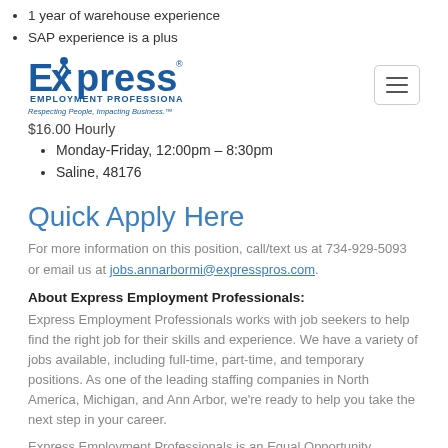1 year of warehouse experience
SAP experience is a plus
[Figure (logo): Express Employment Professionals logo with tagline 'Respecting People, Impacting Business.']
$16.00 Hourly
Monday-Friday, 12:00pm – 8:30pm
Saline, 48176
Quick Apply Here
For more information on this position, call/text us at 734-929-5093 or email us at jobs.annarbormi@expresspros.com.
About Express Employment Professionals:
Express Employment Professionals works with job seekers to help find the right job for their skills and experience. We have a variety of jobs available, including full-time, part-time, and temporary positions. As one of the leading staffing companies in North America, Michigan, and Ann Arbor, we're ready to help you take the next step in your career.
Express Employment Professionals is an Equal Opportunity Employer and prohibits discrimination and harassment of any kind.